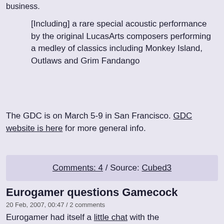business.
[Including] a rare special acoustic performance by the original LucasArts composers performing a medley of classics including Monkey Island, Outlaws and Grim Fandango
The GDC is on March 5-9 in San Francisco. GDC website is here for more general info.
Comments: 4 / Source: Cubed3
Eurogamer questions Gamecock
20 Feb, 2007, 00:47 / 2 comments
Eurogamer had itself a little chat with the